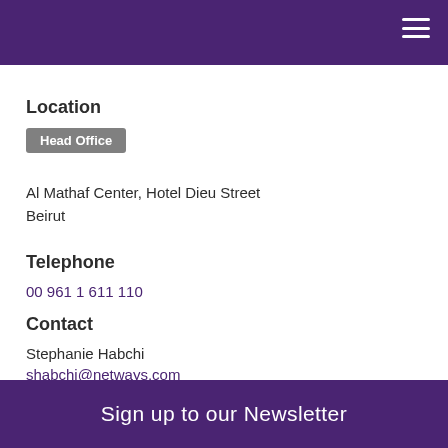Location
Head Office
Al Mathaf Center, Hotel Dieu Street
Beirut
Telephone
00 961 1 611 110
Contact
Stephanie Habchi
shabchi@netways.com
Sign up to our Newsletter